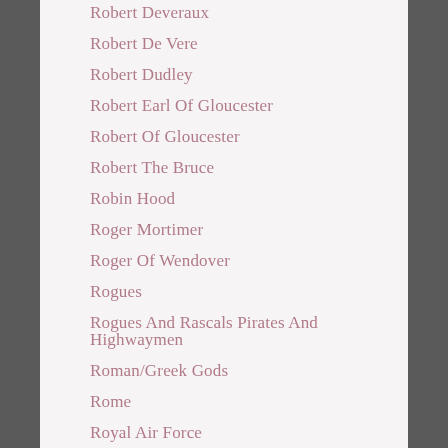Robert Deveraux
Robert De Vere
Robert Dudley
Robert Earl Of Gloucester
Robert Of Gloucester
Robert The Bruce
Robin Hood
Roger Mortimer
Roger Of Wendover
Rogues
Rogues And Rascals Pirates And Highwaymen
Roman/Greek Gods
Rome
Royal Air Force
Royal Palaces
Saints
Saints Day
Salam Witch Trials
Samuel Foote